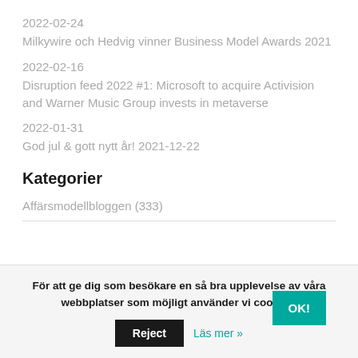2022-02-24
Milkywire och Hedvig vinner Business Model Awards 2021
2022-02-16
Disruption feed 2022 #1: Microsoft to acquire Activision and Warner Music Group invests in metaverse
2022-01-31
God jul & gott nytt år! 2021-12-22
Kategorier
Affärsmodellbloggen (333)
För att ge dig som besökare en så bra upplevelse av våra webbplatser som möjligt använder vi cookies.
Reject
Läs mer »
OK!